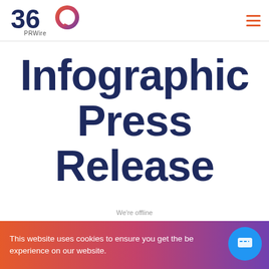360 PRWire
Infographic Press Release
Get a one month free trial. Please insert the
This website uses cookies to ensure you get the best experience on our website.